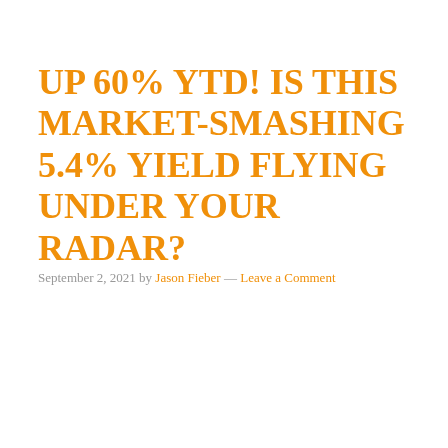UP 60% YTD! IS THIS MARKET-SMASHING 5.4% YIELD FLYING UNDER YOUR RADAR?
September 2, 2021 by Jason Fieber — Leave a Comment